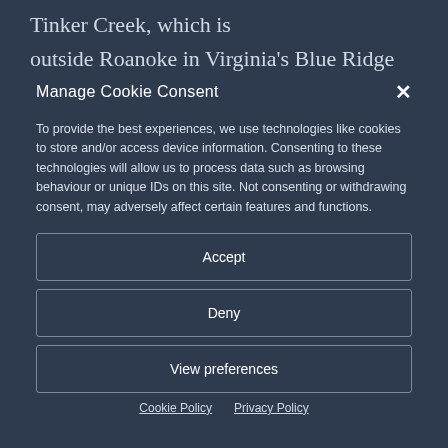Tinker Creek, which is outside Roanoke in Virginia's Blue Ridge Mountains.
Manage Cookie Consent
To provide the best experiences, we use technologies like cookies to store and/or access device information. Consenting to these technologies will allow us to process data such as browsing behaviour or unique IDs on this site. Not consenting or withdrawing consent, may adversely affect certain features and functions.
Accept
Deny
View preferences
Cookie Policy  Privacy Policy